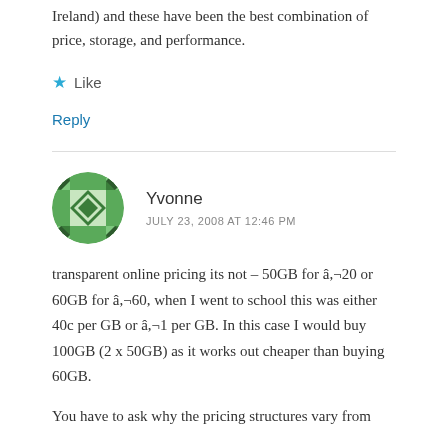Ireland) and these have been the best combination of price, storage, and performance.
Like
Reply
Yvonne
JULY 23, 2008 AT 12:46 PM
transparent online pricing its not – 50GB for â,¬20 or 60GB for â,¬60, when I went to school this was either 40c per GB or â,¬1 per GB. In this case I would buy 100GB (2 x 50GB) as it works out cheaper than buying 60GB.
You have to ask why the pricing structures vary from